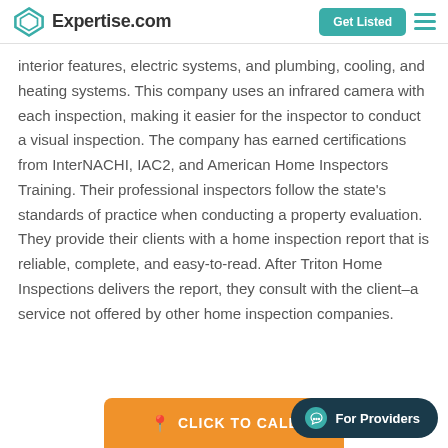Expertise.com | Get Listed
interior features, electric systems, and plumbing, cooling, and heating systems. This company uses an infrared camera with each inspection, making it easier for the inspector to conduct a visual inspection. The company has earned certifications from InterNACHI, IAC2, and American Home Inspectors Training. Their professional inspectors follow the state's standards of practice when conducting a property evaluation. They provide their clients with a home inspection report that is reliable, complete, and easy-to-read. After Triton Home Inspections delivers the report, they consult with the client–a service not offered by other home inspection companies.
[Figure (other): Orange button with pin icon and text CLICK TO CALL, and a dark teal pill-shaped For Providers chat button]